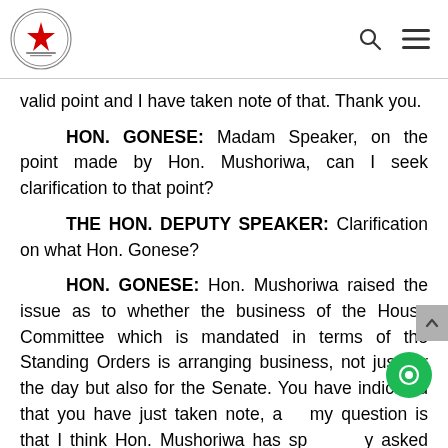Parliament of Zimbabwe header with logo, search icon, and menu icon
valid point and I have taken note of that. Thank you.
HON. GONESE: Madam Speaker, on the point made by Hon. Mushoriwa, can I seek clarification to that point?
THE HON. DEPUTY SPEAKER: Clarification on what Hon. Gonese?
HON. GONESE: Hon. Mushoriwa raised the issue as to whether the business of the House Committee which is mandated in terms of the Standing Orders is arranging business, not just for the day but also for the Senate. You have indicated that you have just taken note, and my question is that I think Hon. Mushoriwa has specifically asked as to whether the business of the House